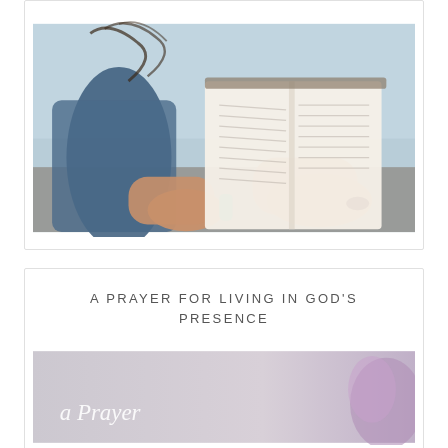[Figure (photo): Person holding an open book/bible outdoors, hands visible against a blurred background of sky and rocks]
A PRAYER FOR LIVING IN GOD'S PRESENCE
[Figure (photo): Soft purple/lavender background image with cursive white script text reading 'A Prayer']